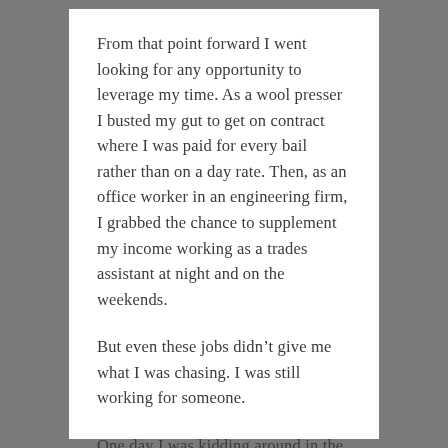From that point forward I went looking for any opportunity to leverage my time. As a wool presser I busted my gut to get on contract where I was paid for every bail rather than on a day rate. Then, as an office worker in an engineering firm, I grabbed the chance to supplement my income working as a trades assistant at night and on the weekends.
But even these jobs didn’t give me what I was chasing. I was still working for someone.
One day I was kidding around in the workshop with one of the project managers when the big boss came past.
“You’re paid to work, not talk,” he snapped.